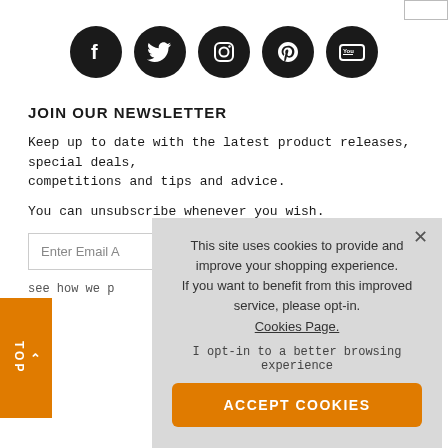[Figure (other): Five social media icons (Facebook, Twitter, Instagram, Pinterest, YouTube) as white symbols on black circles, displayed in a row]
JOIN OUR NEWSLETTER
Keep up to date with the latest product releases, special deals, competitions and tips and advice.
You can unsubscribe whenever you wish.
Enter Email A
see how we p
icy
[Figure (other): Cookie consent overlay popup with text: This site uses cookies to provide and improve your shopping experience. If you want to benefit from this improved service, please opt-in. Cookies Page. / I opt-in to a better browsing experience / ACCEPT COOKIES button]
Guitar Workshop